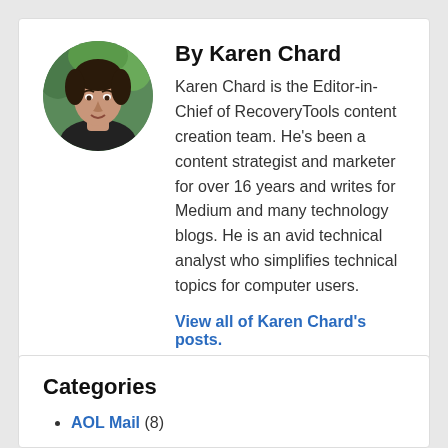[Figure (photo): Circular headshot photo of Karen Chard, a young man with dark hair, photographed outdoors with green foliage in the background.]
By Karen Chard
Karen Chard is the Editor-in-Chief of RecoveryTools content creation team. He's been a content strategist and marketer for over 16 years and writes for Medium and many technology blogs. He is an avid technical analyst who simplifies technical topics for computer users.
View all of Karen Chard's posts.
Categories
AOL Mail (8)